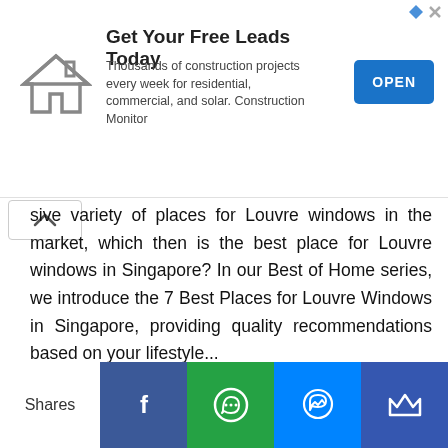[Figure (screenshot): Advertisement banner: Get Your Free Leads Today — Thousands of construction projects every week for residential, commercial, and solar. Construction Monitor. OPEN button. House icon.]
sive variety of places for Louvre windows in the market, which then is the best place for Louvre windows in Singapore? In our Best of Home series, we introduce the 7 Best Places for Louvre Windows in Singapore, providing quality recommendations based on your lifestyle...
READ MORE
Meryll Villanueva
Shares